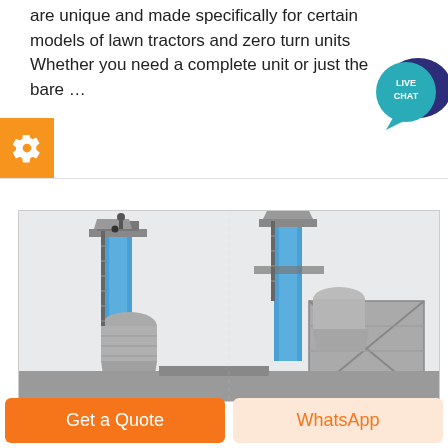are unique and made specifically for certain models of lawn tractors and zero turn units Whether you need a complete unit or just the bare …
[Figure (photo): Live chat speech bubble icon with teal/dark blue colors and text 'LIVE CHAT']
[Figure (photo): Industrial grain elevator or cement plant structures with blue vertical towers and grey hoppers/silos, photographed against a white sky]
Get a Quote
WhatsApp